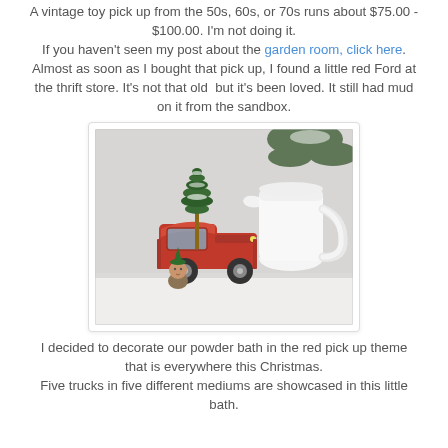A vintage toy pick up from the 50s, 60s, or 70s runs about $75.00 - $100.00. I'm not doing it. If you haven't seen my post about the garden room, click here. Almost as soon as I bought that pick up, I found a little red Ford at the thrift store. It's not that old  but it's been loved. It still had mud on it from the sandbox.
[Figure (photo): A red toy pickup truck carrying a small bottle brush Christmas tree sits on a white shelf next to a white ceramic pitcher. A small elf figurine is beside the truck.]
I decided to decorate our powder bath in the red pick up theme that is everywhere this Christmas. Five trucks in five different mediums are showcased in this little bath.